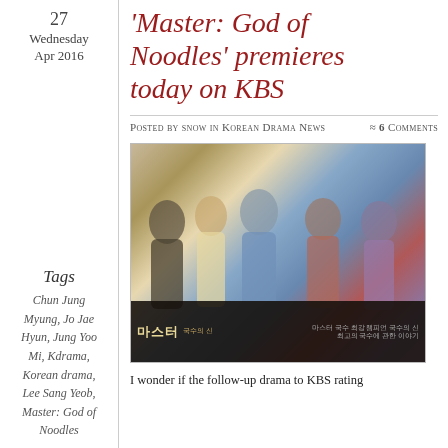27
Wednesday
Apr 2016
'Master: God of Noodles' premieres today on KBS
Posted by snow in Korean Drama News  ≈ 6 Comments
[Figure (photo): Promotional poster for KBS drama 'Master: God of Noodles' featuring five cast members side by side with Korean text and title at the bottom]
Tags
Chun Jung Myung, Jo Jae Hyun, Jung Yoo Mi, Kdrama, Korean drama, Lee Sang Yeob, Master: God of Noodles
I wonder if the follow-up drama to KBS rating